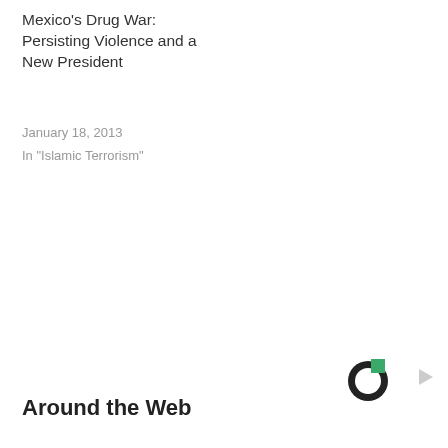Mexico's Drug War: Persisting Violence and a New President
January 18, 2013
In "Islamic Terrorism"
Around the Web
[Figure (logo): Circular logo with black ring and green square accent in upper right, resembling a donut/ring shape]